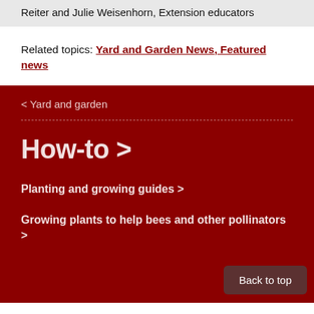Reiter and Julie Weisenhorn, Extension educators
Related topics: Yard and Garden News, Featured news
< Yard and garden
How-to >
Planting and growing guides >
Growing plants to help bees and other pollinators >
Back to top